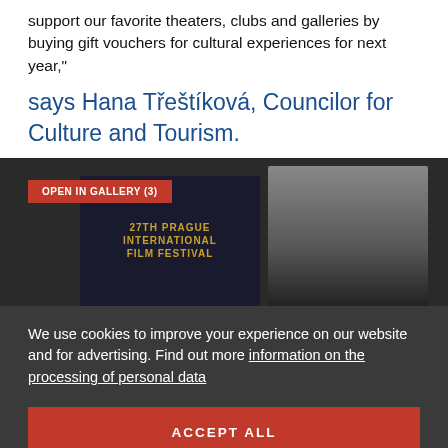support our favorite theaters, clubs and galleries by buying gift vouchers for cultural experiences for next year,"
says Hana Třeštíková, Councilor for Culture and Tourism.
[Figure (photo): Photo from what appears to be a film festival event, showing a person and a poster for the 27th Prague International Film Festival]
We use cookies to improve your experience on our website and for advertising. Find out more information on the processing of personal data
ACCEPT ALL
MANAGE COOKIES